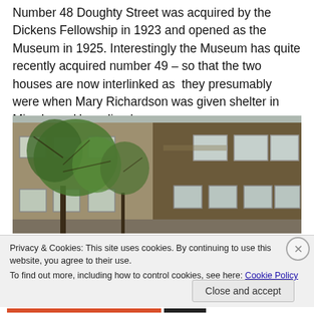Number 48 Doughty Street was acquired by the Dickens Fellowship in 1923 and opened as the Museum in 1925. Interestingly the Museum has quite recently acquired number 49 – so that the two houses are now interlinked as they presumably were when Mary Richardson was given shelter in Miss Lyons' boarding house.
[Figure (photo): Exterior photograph of a Victorian brick townhouse at 48-49 Doughty Street, showing two or three storeys with sash windows, and trees in the foreground.]
Privacy & Cookies: This site uses cookies. By continuing to use this website, you agree to their use.
To find out more, including how to control cookies, see here: Cookie Policy